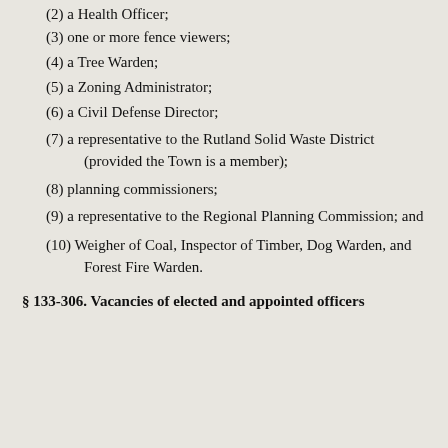(2) a Health Officer;
(3) one or more fence viewers;
(4) a Tree Warden;
(5) a Zoning Administrator;
(6) a Civil Defense Director;
(7) a representative to the Rutland Solid Waste District (provided the Town is a member);
(8) planning commissioners;
(9) a representative to the Regional Planning Commission; and
(10) Weigher of Coal, Inspector of Timber, Dog Warden, and Forest Fire Warden.
§ 133-306. Vacancies of elected and appointed officers